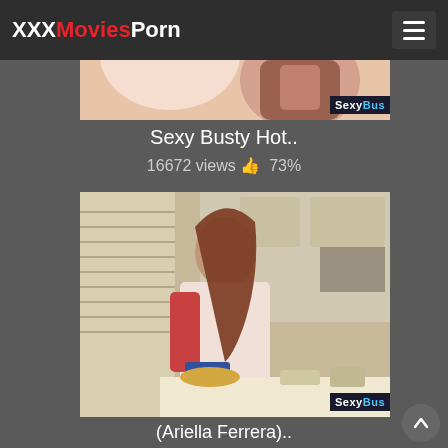XXXMoviesPorn
[Figure (screenshot): Video thumbnail showing partial content with 'SexyBus' watermark in bottom right]
Sexy Busty Hot..
16672 views 👍 73%
[Figure (screenshot): Video thumbnail of woman with long hair in kitchen wearing white top and jeans with 'SexyBus' watermark]
(Ariella Ferrera)..